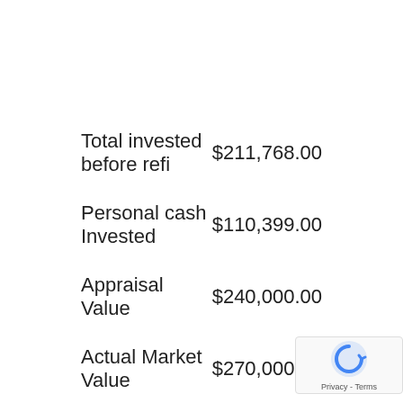|  |  |
| --- | --- |
| Total invested before refi | $211,768.00 |
| Personal cash Invested | $110,399.00 |
| Appraisal Value | $240,000.00 |
| Actual Market Value | $270,000.00 |
| Refinance @ 70% | $168,000.00 |
| Cash back from refi | $46,661.00 |
| Cash remaining in investment | $63,738.00 |